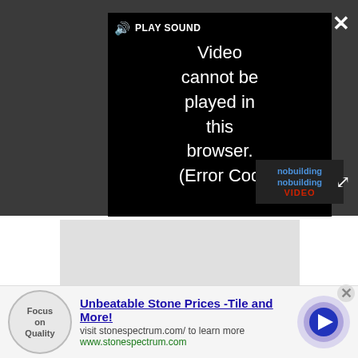[Figure (screenshot): Video player showing error message: 'Video cannot be played in this browser. (Error Cod' with PLAY SOUND button and close/expand controls on dark background]
[Figure (other): Gray advertisement placeholder block]
Assigning a Party Wall Surveyor
When a neighbour's consent can't be obtained the
[Figure (other): Advertisement banner: Unbeatable Stone Prices -Tile and More! visit stonespectrum.com/ to learn more www.stonespectrum.com, with Focus on Quality logo and arrow button]